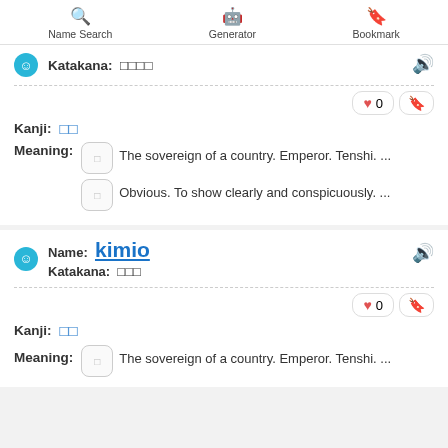Name Search | Generator | Bookmark
Katakana: □□□□
Kanji: □□
Meaning: The sovereign of a country. Emperor. Tenshi. ...
Meaning: Obvious. To show clearly and conspicuously. ...
Name: kimio
Katakana: □□□
Kanji: □□
Meaning: The sovereign of a country. Emperor. Tenshi. ...